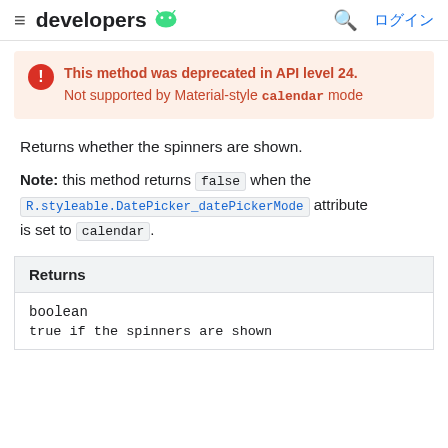≡ developers 🤖  🔍 ログイン
This method was deprecated in API level 24. Not supported by Material-style calendar mode
Returns whether the spinners are shown.
Note: this method returns false when the R.styleable.DatePicker_datePickerMode attribute is set to calendar.
| Returns |
| --- |
| boolean |
| true if the spinners are shown |